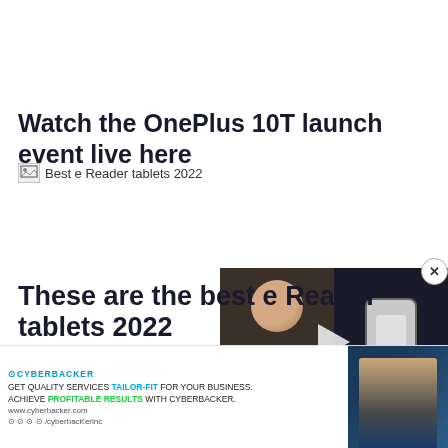Watch the OnePlus 10T launch event live here
[Figure (photo): Broken image placeholder labeled 'Best e Reader tablets 2022']
[Figure (screenshot): Video player overlay showing a person with text 'DAILY.' and a phone image on the right side, with a play button in the center]
These are the best e Reader tablets 2022
[Figure (other): Advertisement banner for Cyberbacker with text 'GET QUALITY SERVICES TAILOR-FIT FOR YOUR BUSINESS. ACHIEVE PROFITABLE RESULTS WITH CYBERBACKER.' and social media icons]